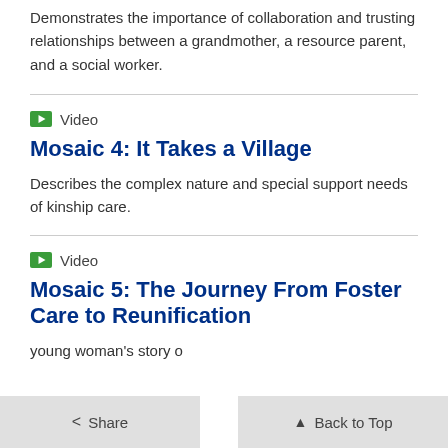Demonstrates the importance of collaboration and trusting relationships between a grandmother, a resource parent, and a social worker.
Video
Mosaic 4: It Takes a Village
Describes the complex nature and special support needs of kinship care.
Video
Mosaic 5: The Journey From Foster Care to Reunification
young woman's story o...
< Share   ↑ Back to Top